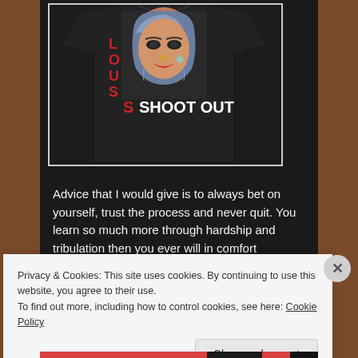[Figure (photo): A black t-shirt with graphic design showing a woman with tattoos and the text 'LOUS SHOOT OUT' in red and white letters on the front.]
Advice that I would give is to always bet on yourself, trust the process and never quit. You learn so much more through hardship and tribulation then you ever will in comfort
Privacy & Cookies: This site uses cookies. By continuing to use this website, you agree to their use.
To find out more, including how to control cookies, see here: Cookie Policy
Close and accept